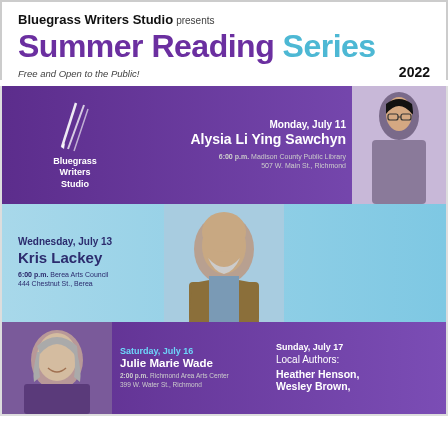Bluegrass Writers Studio presents Summer Reading Series 2022
Free and Open to the Public!
[Figure (infographic): Event band with purple background, Bluegrass Writers Studio logo on left, Monday July 11, Alysia Li Ying Sawchyn event info, photo of woman on right]
[Figure (infographic): Event band with light blue background, Wednesday July 13, Kris Lackey event info, photo of man in center]
[Figure (infographic): Event band with purple background, Saturday July 16 Julie Marie Wade on left, Sunday July 17 Heather Henson and Wesley Brown on right, photo of woman on left]